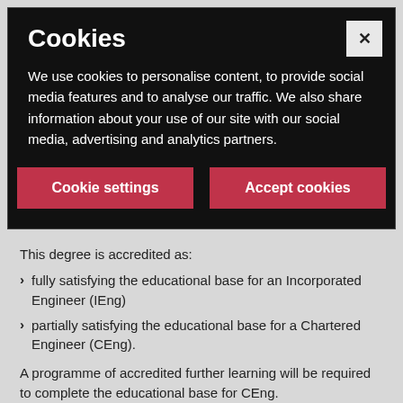Cookies
We use cookies to personalise content, to provide social media features and to analyse our traffic. We also share information about your use of our site with our social media, advertising and analytics partners.
[Figure (screenshot): Cookie settings dialog with two buttons: 'Cookie settings' and 'Accept cookies', and a close (X) button in the top right.]
This degree is accredited as:
fully satisfying the educational base for an Incorporated Engineer (IEng)
partially satisfying the educational base for a Chartered Engineer (CEng).
A programme of accredited further learning will be required to complete the educational base for CEng.
Find out more on the JBM website.